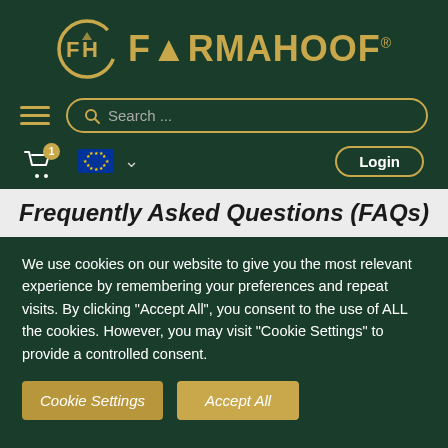[Figure (logo): FormaHoof logo: gold circular FH emblem with text FORMAHOOF in gold, registered trademark symbol]
[Figure (screenshot): Navigation bar with hamburger menu, search box with placeholder 'Search...', shopping cart with badge showing 1, EU flag icon, chevron dropdown, and Login button]
Frequently Asked Questions (FAQs)
We use cookies on our website to give you the most relevant experience by remembering your preferences and repeat visits. By clicking "Accept All", you consent to the use of ALL the cookies. However, you may visit "Cookie Settings" to provide a controlled consent.
Cookie Settings
Accept All